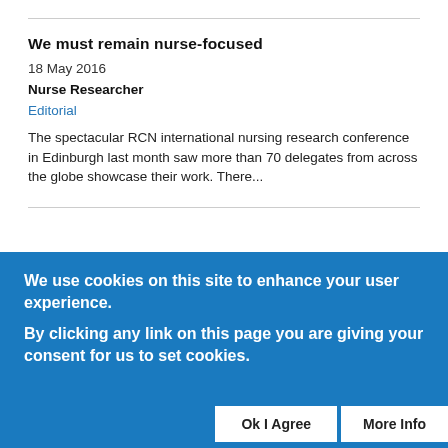We must remain nurse-focused
18 May 2016
Nurse Researcher
Editorial
The spectacular RCN international nursing research conference in Edinburgh last month saw more than 70 delegates from across the globe showcase their work. There...
We use cookies on this site to enhance your user experience.
By clicking any link on this page you are giving your consent for us to set cookies.